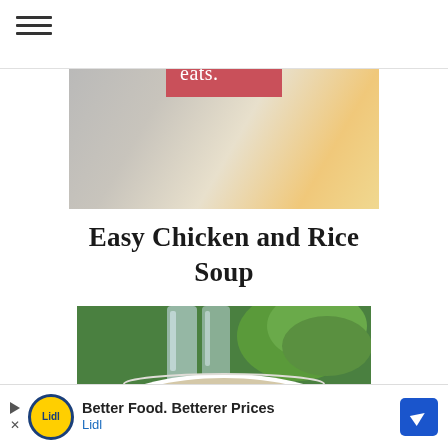iowa girl eats.
[Figure (photo): Iowa Girl Eats logo - pink/red square with white text reading 'iowa girl eats.' overlaid on a banner photo of food]
Easy Chicken and Rice Soup
[Figure (photo): Photo of chicken and rice soup in a white bowl with carrots and shredded chicken, with green leafy vegetables and glasses in background]
Better Food. Betterer Prices Lidl